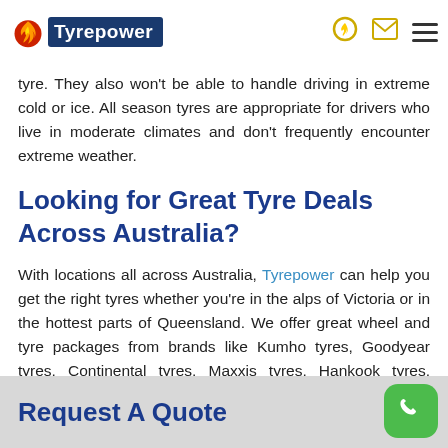Tyrepower
tyre. They also won't be able to handle driving in extreme cold or ice. All season tyres are appropriate for drivers who live in moderate climates and don't frequently encounter extreme weather.
Looking for Great Tyre Deals Across Australia?
With locations all across Australia, Tyrepower can help you get the right tyres whether you're in the alps of Victoria or in the hottest parts of Queensland. We offer great wheel and tyre packages from brands like Kumho tyres, Goodyear tyres, Continental tyres, Maxxis tyres, Hankook tyres, Michelin tyres, Pirelli tyres and Toyo tyres.
Find your closest Tyrepower Store or call 13 21 91.
Request A Quote